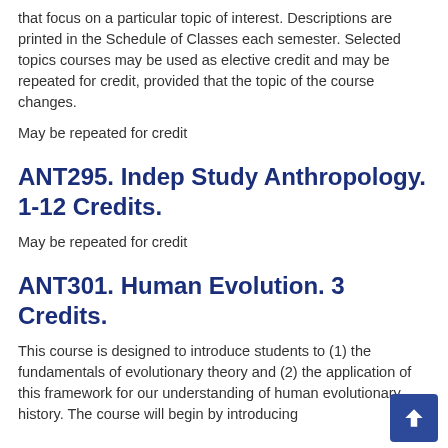that focus on a particular topic of interest. Descriptions are printed in the Schedule of Classes each semester. Selected topics courses may be used as elective credit and may be repeated for credit, provided that the topic of the course changes.
May be repeated for credit
ANT295. Indep Study Anthropology. 1-12 Credits.
May be repeated for credit
ANT301. Human Evolution. 3 Credits.
This course is designed to introduce students to (1) the fundamentals of evolutionary theory and (2) the application of this framework for our understanding of human evolutionary history. The course will begin by introducing